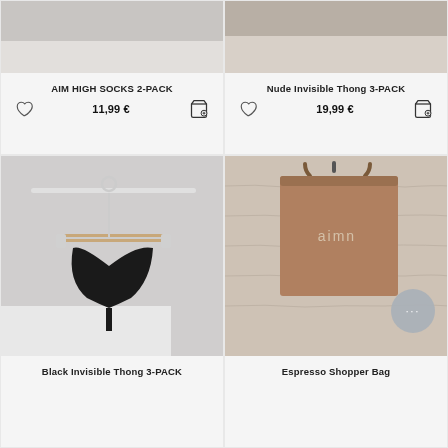[Figure (photo): Product photo of AIM HIGH SOCKS 2-PACK on light gray background]
AIM HIGH SOCKS 2-PACK
11,99 €
[Figure (photo): Product photo of Nude Invisible Thong 3-PACK on light beige/nude background]
Nude Invisible Thong 3-PACK
19,99 €
[Figure (photo): Black invisible thong hung on a white hanger with wooden bar and metal clips, on a white background]
Black Invisible Thong 3-PACK
[Figure (photo): Tan/espresso colored tote bag with 'aimn' logo hanging on a white textured brick wall]
Espresso Shopper Bag